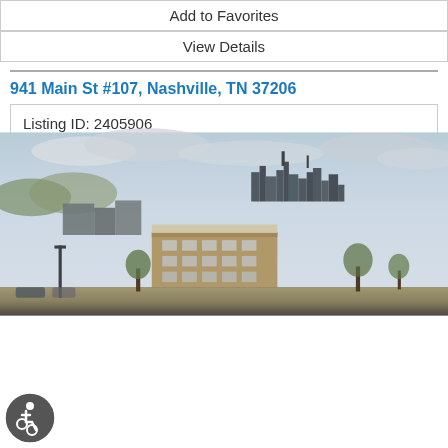Add to Favorites
View Details
[Figure (photo): Aerial drone photo of Nashville, TN showing a brick apartment building complex in the foreground with the Nashville city skyline in the background under a cloudy sky.]
941 Main St #107, Nashville, TN 37206
Listing ID: 2405906